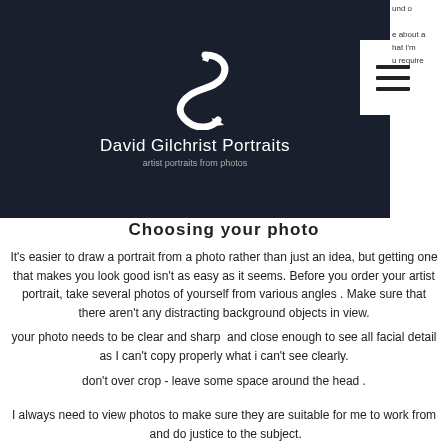[Figure (logo): David Gilchrist Portraits logo — white stylized 'S' with a quill/pen on dark navy background, with text 'David Gilchrist Portraits' and 'artist portraits from photos']
Choosing your photo
It's easier to draw a portrait from a photo rather than just an idea, but getting one that makes you look good isn't as easy as it seems. Before you order your artist portrait, take several photos of yourself from various angles . Make sure that there aren't any distracting background objects in view.
your photo needs to be clear and sharp  and close enough to see all facial detail as I can't copy properly what i can't see clearly.
don't over crop - leave some space around the head .
I always need to view photos to make sure they are suitable for me to work from  and do justice to the subject.
Photo quality is very important, so please consider using a digital camera or a phone with a good camera instead of just your phone.
It's also better to take several shots of each pose in case one doesn't turn out good!
Also, don't crop your photo - leave it as it was taken with